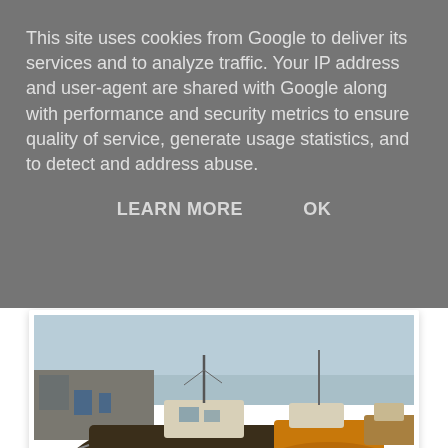This site uses cookies from Google to deliver its services and to analyze traffic. Your IP address and user-agent are shared with Google along with performance and security metrics to ensure quality of service, generate usage statistics, and to detect and address abuse.
LEARN MORE    OK
[Figure (photo): Fishing boats or trawlers beached at low tide in a harbour, showing weathered hulls with barnacles and mud, with other vessels and harbour buildings visible in the background under a clear sky.]
almost low water...
[Figure (photo): Partial view of what appears to be wooden dock pilings or pier structure, warmly lit.]